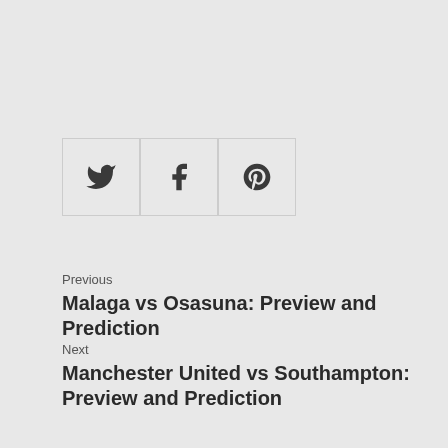[Figure (other): Social sharing buttons row: Twitter bird icon, Facebook f icon, Pinterest P icon, each in a bordered square button]
Previous
Malaga vs Osasuna: Preview and Prediction
Next
Manchester United vs Southampton: Preview and Prediction